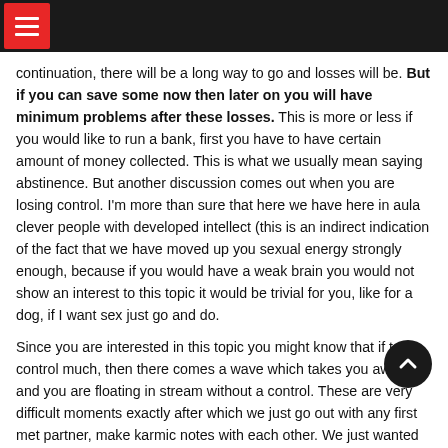☰ (menu button)
continuation, there will be a long way to go and losses will be. But if you can save some now then later on you will have minimum problems after these losses. This is more or less if you would like to run a bank, first you have to have certain amount of money collected. This is what we usually mean saying abstinence. But another discussion comes out when you are losing control. I'm more than sure that here we have here in aula clever people with developed intellect (this is an indirect indication of the fact that we have moved up you sexual energy strongly enough, because if you would have a weak brain you would not show an interest to this topic it would be trivial for you, like for a dog, if I want sex just go and do.
Since you are interested in this topic you might know that if to control much, then there comes a wave which takes you away and you are floating in stream without a control. These are very difficult moments exactly after which we just go out with any first met partner, make karmic notes with each other. We just wanted sex, but being honest we marry and create even big problems without karmic consequences.
The followers of Triad have an advantage: relations between man and woman are less complex there, in good sense less. Unfortunately, our society is more hypocritical. Someone of you